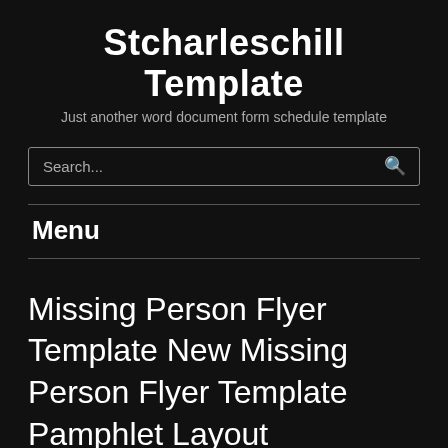Stcharleschill Template
Just another word document form schedule template
Search...
Menu
Missing Person Flyer Template New Missing Person Flyer Template Pamphlet Layout Christmas